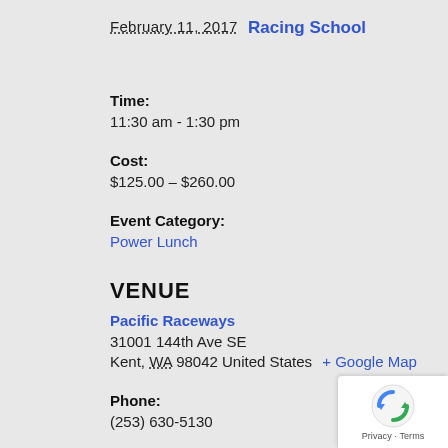February 11, 2017
Racing School
Time:
11:30 am - 1:30 pm
Cost:
$125.00 – $260.00
Event Category:
Power Lunch
VENUE
Pacific Raceways
31001 144th Ave SE
Kent, WA 98042 United States + Google Map
Phone:
(253) 630-5130